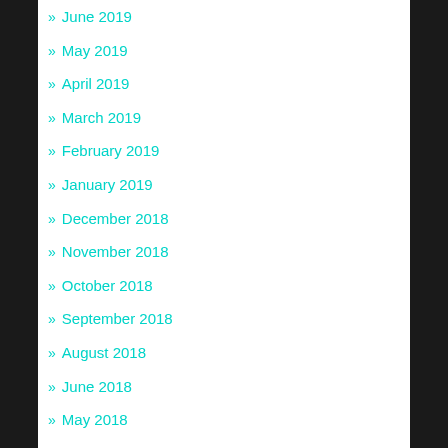» June 2019
» May 2019
» April 2019
» March 2019
» February 2019
» January 2019
» December 2018
» November 2018
» October 2018
» September 2018
» August 2018
» June 2018
» May 2018
» April 2018
» March 2018
» February 2018